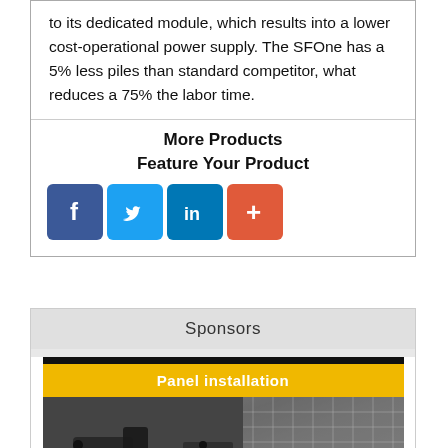to its dedicated module, which results into a lower cost-operational power supply. The SFOne has a 5% less piles than standard competitor, what reduces a 75% the labor time.
More Products
Feature Your Product
[Figure (infographic): Social media share icons: Facebook (blue), Twitter (light blue), LinkedIn (dark blue), Add/Plus (orange-red)]
Sponsors
[Figure (photo): Panel installation advertisement banner with black top bar, yellow banner with white text 'Panel installation', and a grayscale photo of solar panel installation equipment on a rooftop with a grid overlay on the right side.]